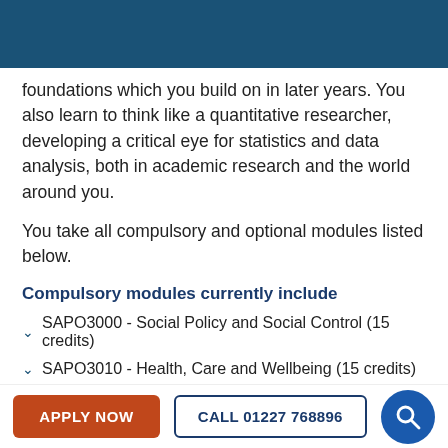foundations which you build on in later years. You also learn to think like a quantitative researcher, developing a critical eye for statistics and data analysis, both in academic research and the world around you.
You take all compulsory and optional modules listed below.
Compulsory modules currently include
SAPO3000 - Social Policy and Social Control (15 credits)
SAPO3010 - Health, Care and Wellbeing (15 credits)
SOCI3360 - Sociology of Everyday Life (15 credits)
APPLY NOW   CALL 01227 768896